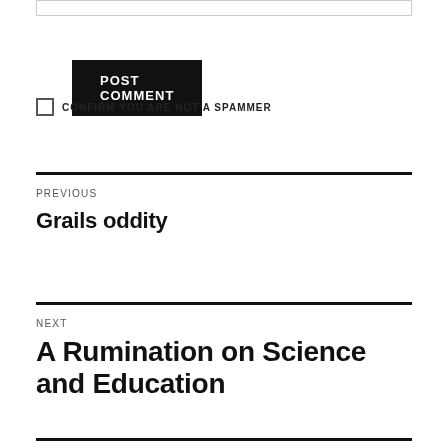POST COMMENT
CONFIRM YOU ARE NOT A SPAMMER
PREVIOUS
Grails oddity
NEXT
A Rumination on Science and Education